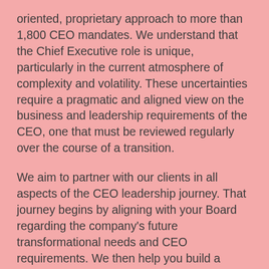oriented, proprietary approach to more than 1,800 CEO mandates. We understand that the Chief Executive role is unique, particularly in the current atmosphere of complexity and volatility. These uncertainties require a pragmatic and aligned view on the business and leadership requirements of the CEO, one that must be reviewed regularly over the course of a transition.
We aim to partner with our clients in all aspects of the CEO leadership journey. That journey begins by aligning with your Board regarding the company's future transformational needs and CEO requirements. We then help you build a compelling internal pipeline of senior leaders with CEO potential by identifying, assessing, and advising them on their development journey.
The CEO transition process also means working hand-in-hand with your Board of Directors to develop a clear, workable succession plan—one that helps internal executives accelerate their personal development through our heralded Executive Breakthrough Program, designed and facilitated in partnership with Mobius Executive